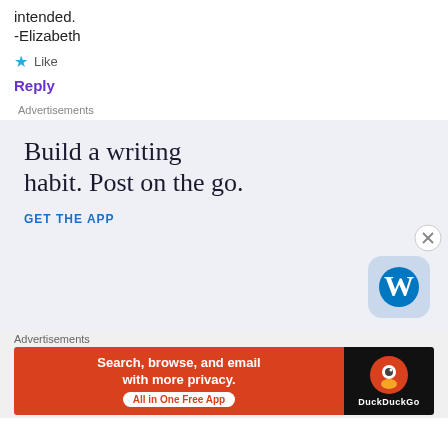intended.
-Elizabeth
★ Like
Reply
Advertisements
[Figure (infographic): WordPress app advertisement: 'Build a writing habit. Post on the go.' with WordPress logo and 'GET THE APP' link]
Advertisements
[Figure (infographic): DuckDuckGo advertisement: 'Search, browse, and email with more privacy. All in One Free App']